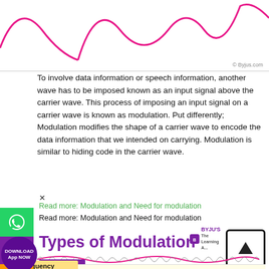[Figure (continuous-plot): Pink sine wave curves shown at top of page, partial view of carrier wave illustration. Credit: Byjus.com]
To involve data information or speech information, another wave has to be imposed known as an input signal above the carrier wave. This process of imposing an input signal on a carrier wave is known as modulation. Put differently; Modulation modifies the shape of a carrier wave to encode the data information that we intended on carrying. Modulation is similar to hiding code in the carrier wave.
Read more: Modulation and Need for modulation
Read more: Modulation and Need for modulation
Types of Modulation
[Figure (continuous-plot): Amplitude modulation diagram showing high-frequency carrier wave with pink envelope curve modulating the amplitude. BYJU'S logo visible.]
[Figure (continuous-plot): Frequency modulation diagram showing varying frequency signal with alternating dense and sparse wave sections.]